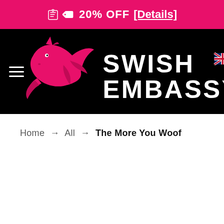🏷 20% OFF [Details]
[Figure (logo): Swish Embassy logo with pink pegasus/unicorn and UK flag, white text on black background]
Home → All → The More You Woof